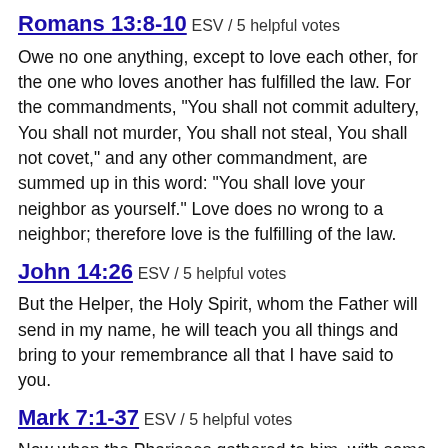Romans 13:8-10 ESV / 5 helpful votes
Owe no one anything, except to love each other, for the one who loves another has fulfilled the law. For the commandments, “You shall not commit adultery, You shall not murder, You shall not steal, You shall not covet,” and any other commandment, are summed up in this word: “You shall love your neighbor as yourself.” Love does no wrong to a neighbor; therefore love is the fulfilling of the law.
John 14:26 ESV / 5 helpful votes
But the Helper, the Holy Spirit, whom the Father will send in my name, he will teach you all things and bring to your remembrance all that I have said to you.
Mark 7:1-37 ESV / 5 helpful votes
Now when the Pharisees gathered to him, with some of the scribes who had come from Jerusalem, they saw that some of his disciples ate with hands that were defiled, that is, unwashed. (For the Pharisees and all the Jews do not eat unless they wash their hands, holding to the tradition of the elders, and when they come from the